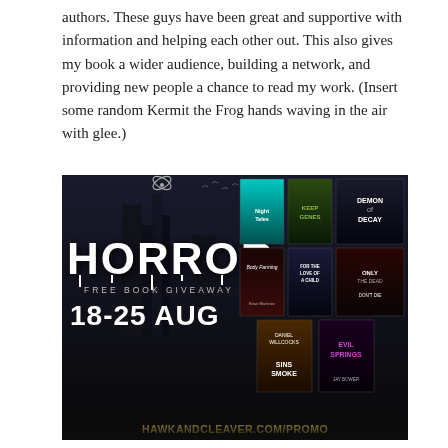authors. These guys have been great and supportive with information and helping each other out. This also gives my book a wider audience, building a network, and providing new people a chance to read my work. (Insert some random Kermit the Frog hands waving in the air with glee.)
[Figure (illustration): Horror Free Book Giveaway promotional image with dark gothic background, 'HORROR' in large white dripping font, 'FREE BOOK GIVEAWAY' subtitle, dates '18-25 AUG', multiple horror book covers displayed on the right side, wing logo at top, and website 'HAWKANDCLEAVER.COM/PROMO' at the bottom in yellow text.]